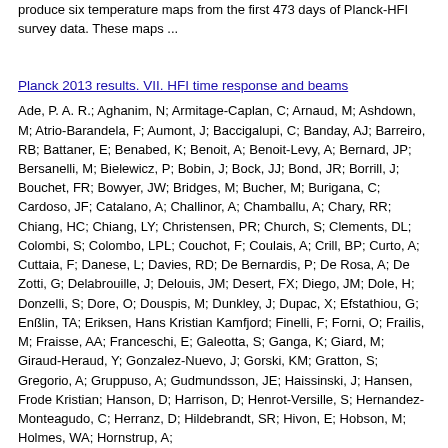produce six temperature maps from the first 473 days of Planck-HFI survey data. These maps ...
Planck 2013 results. VII. HFI time response and beams
Ade, P. A. R.; Aghanim, N; Armitage-Caplan, C; Arnaud, M; Ashdown, M; Atrio-Barandela, F; Aumont, J; Baccigalupi, C; Banday, AJ; Barreiro, RB; Battaner, E; Benabed, K; Benoit, A; Benoit-Levy, A; Bernard, JP; Bersanelli, M; Bielewicz, P; Bobin, J; Bock, JJ; Bond, JR; Borrill, J; Bouchet, FR; Bowyer, JW; Bridges, M; Bucher, M; Burigana, C; Cardoso, JF; Catalano, A; Challinor, A; Chamballu, A; Chary, RR; Chiang, HC; Chiang, LY; Christensen, PR; Church, S; Clements, DL; Colombi, S; Colombo, LPL; Couchot, F; Coulais, A; Crill, BP; Curto, A; Cuttaia, F; Danese, L; Davies, RD; De Bernardis, P; De Rosa, A; De Zotti, G; Delabrouille, J; Delouis, JM; Desert, FX; Diego, JM; Dole, H; Donzelli, S; Dore, O; Douspis, M; Dunkley, J; Dupac, X; Efstathiou, G; Enßlin, TA; Eriksen, Hans Kristian Kamfjord; Finelli, F; Forni, O; Frailis, M; Fraisse, AA; Franceschi, E; Galeotta, S; Ganga, K; Giard, M; Giraud-Heraud, Y; Gonzalez-Nuevo, J; Gorski, KM; Gratton, S; Gregorio, A; Gruppuso, A; Gudmundsson, JE; Haissinski, J; Hansen, Frode Kristian; Hanson, D; Harrison, D; Henrot-Versille, S; Hernandez-Monteagudo, C; Herranz, D; Hildebrandt, SR; Hivon, E; Hobson, M; Holmes, WA; Hornstrup, A;